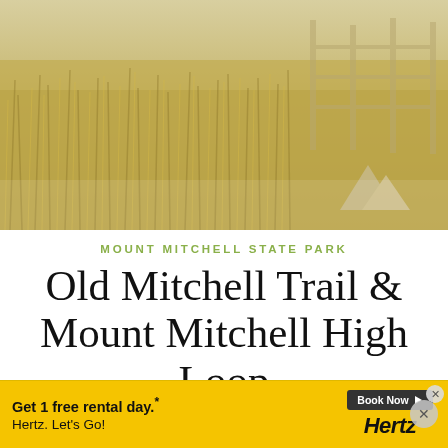[Figure (photo): Outdoor landscape photo showing tall golden grasses and meadow vegetation with a fence visible in the upper right portion, overlaid with a mountain/hiking icon watermark in the lower right area. The image has a warm golden-yellow tone.]
MOUNT MITCHELL STATE PARK
Old Mitchell Trail & Mount Mitchell High Loop
Hike the Mount Mitchell High Loop, catching stunning views from the highest peak
[Figure (other): Advertisement banner: Get 1 free rental day.* Book Now (with play arrow icon) × Hertz. Let's Go! Hertz logo on right side. Yellow background.]